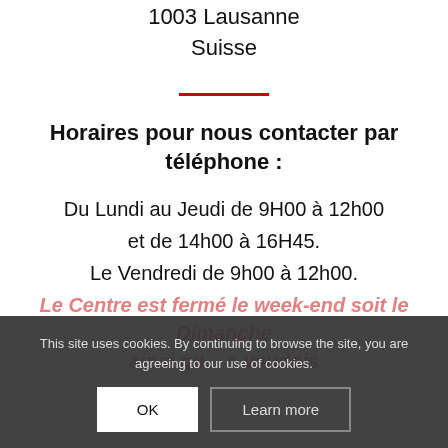1003 Lausanne
Suisse
Horaires pour nous contacter par téléphone :
Du Lundi au Jeudi de 9H00 à 12h00 et de 14h00 à 16H45.
Le Vendredi de 9h00 à 12h00.
Le Centre est fermé le week-end soit le Samedi et le Dimanche ainsi que les jours fériés vaudois